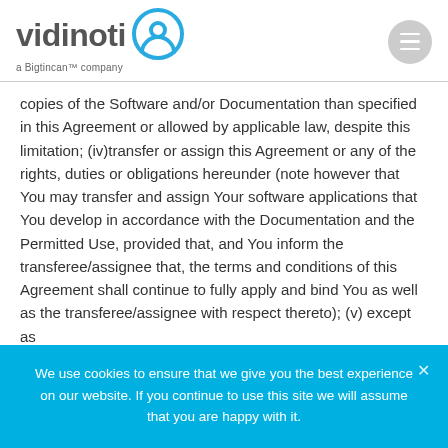[Figure (logo): Vidinoti logo with circular pin icon and tagline 'a Bigtincan™ company']
copies of the Software and/or Documentation than specified in this Agreement or allowed by applicable law, despite this limitation; (iv)transfer or assign this Agreement or any of the rights, duties or obligations hereunder (note however that You may transfer and assign Your software applications that You develop in accordance with the Documentation and the Permitted Use, provided that, and You inform the transferee/assignee that, the terms and conditions of this Agreement shall continue to fully apply and bind You as well as the transferee/assignee with respect thereto); (v) except as
We use cookies to ensure that we give you the best experience on our website. If you continue to use this site we will assume that you are happy with it.